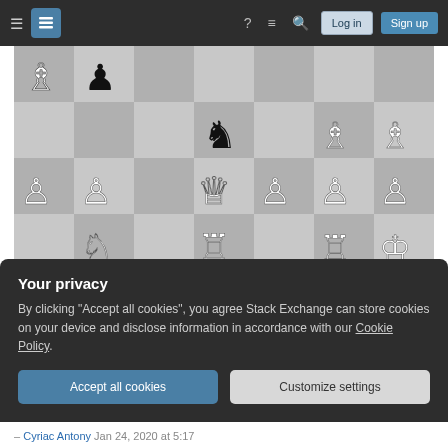[Figure (screenshot): Website navigation bar with hamburger menu, Stack Exchange logo, help, chat, search icons, Log in and Sign up buttons on dark background]
[Figure (other): Partial chess board showing chess pieces including pawns, knights, bishops, rooks, queen and king in various positions on alternating gray squares]
Share
edited Jan 24, 2020 at 1:56
Improve this answer
Follow
Your privacy
By clicking "Accept all cookies", you agree Stack Exchange can store cookies on your device and disclose information in accordance with our Cookie Policy.
Accept all cookies
Customize settings
– Cyriac Antony Jan 24, 2020 at 5:17